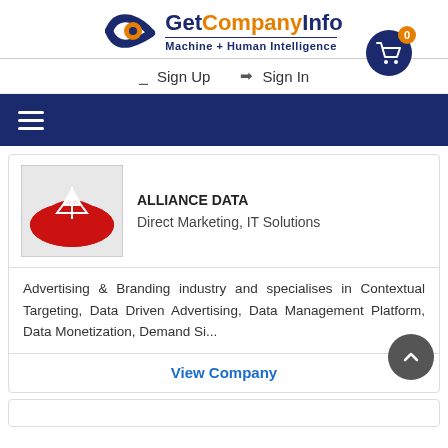[Figure (logo): GetCompanyInfo logo with eye icon, orange and navy blue text, tagline Machine + Human Intelligence]
Sign Up  Sign In  Cart (0)
≡ (hamburger menu)
[Figure (logo): Alliance Data company logo - red semicircle with geometric pattern]
ALLIANCE DATA
Direct Marketing, IT Solutions
Advertising & Branding industry and specialises in Contextual Targeting, Data Driven Advertising, Data Management Platform, Data Monetization, Demand Si...
View Company